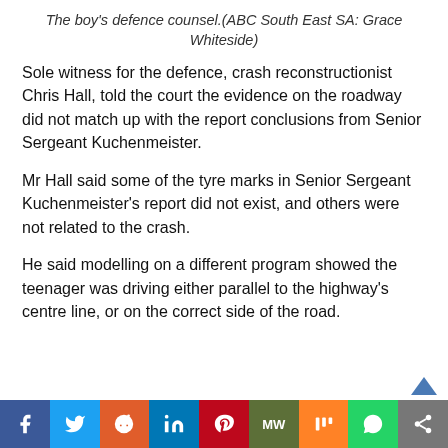The boy's defence counsel.(ABC South East SA: Grace Whiteside)
Sole witness for the defence, crash reconstructionist Chris Hall, told the court the evidence on the roadway did not match up with the report conclusions from Senior Sergeant Kuchenmeister.
Mr Hall said some of the tyre marks in Senior Sergeant Kuchenmeister's report did not exist, and others were not related to the crash.
He said modelling on a different program showed the teenager was driving either parallel to the highway's centre line, or on the correct side of the road.
f  Twitter  Reddit  in  Pinterest  MW  Mix  WhatsApp  Share